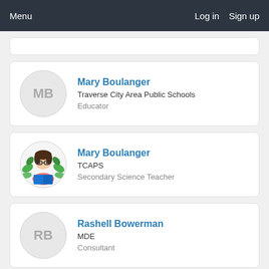Menu    Log in   Sign up
[Figure (illustration): Partial white card visible at top of content area]
Mary Boulanger
Traverse City Area Public Schools
Educator
Mary Boulanger
TCAPS
Secondary Science Teacher
Rashell Bowerman
MDE
Consultant